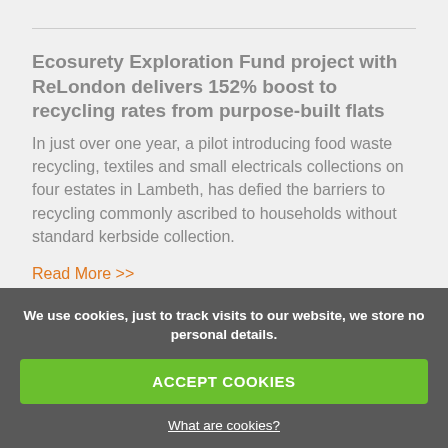Ecosurety Exploration Fund project with ReLondon delivers 152% boost to recycling rates from purpose-built flats
In just over one year, a pilot introducing food waste recycling, textiles and small electricals collections on four estates in Lambeth, has defied the barriers to recycling commonly ascribed to households without standard kerbside collection.
Read More >>
We use cookies, just to track visits to our website, we store no personal details.
ACCEPT COOKIES
What are cookies?